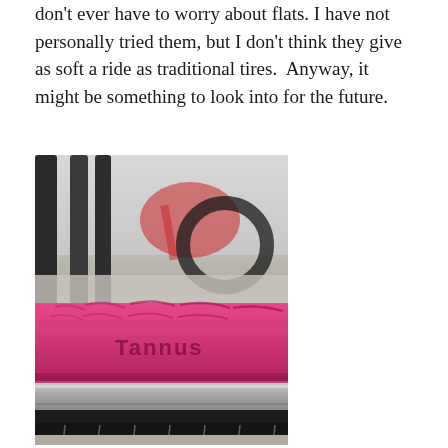don't ever have to worry about flats. I have not personally tried them, but I don't think they give as soft a ride as traditional tires.  Anyway, it might be something to look into for the future.
[Figure (photo): Close-up photo of a pink/magenta Tannus solid bicycle tire mounted on a silver and black wheel rim, with another bicycle visible blurred in the background on a sidewalk.]